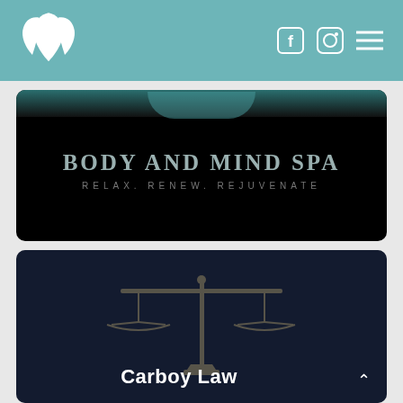Body and Mind Spa navigation header with social icons
[Figure (logo): Body and Mind Spa logo with text: BODY AND MIND SPA, RELAX. RENEW. REJUVENATE on dark background]
[Figure (screenshot): Carboy Law website card with scales of justice illustration and text: Carboy Law]